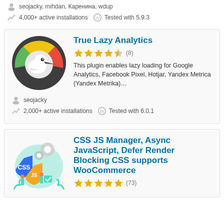seojacky, mihdan, Каренина, wdup
4,000+ active installations   Tested with 5.9.3
True Lazy Analytics
★★★★½ (8)
This plugin enables lazy loading for Google Analytics, Facebook Pixel, Hotjar, Yandex Metrica (Yandex Metrika)…
seojacky
2,000+ active installations   Tested with 6.0.1
CSS JS Manager, Async JavaScript, Defer Render Blocking CSS supports WooCommerce
★★★★★ (73)